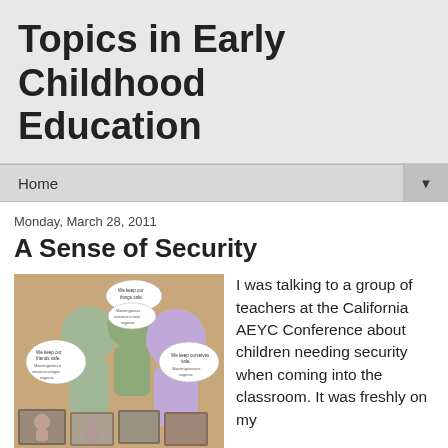Topics in Early Childhood Education
Home
Monday, March 28, 2011
A Sense of Security
[Figure (photo): Classroom bulletin board display showing paper cutout figures of children with speech bubbles in English and Spanish about keeping things safe, friends safe, and ourselves safe, with photographs of children around the figures.]
I was talking to a group of teachers at the California AEYC Conference about children needing security when coming into the classroom. It was freshly on my